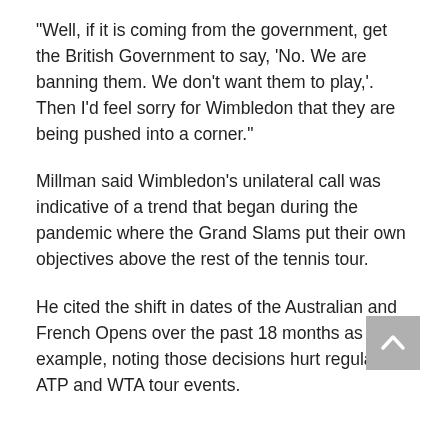“Well, if it is coming from the government, get the British Government to say, ‘No. We are banning them. We don’t want them to play,’. Then I’d feel sorry for Wimbledon that they are being pushed into a corner.”
Millman said Wimbledon’s unilateral call was indicative of a trend that began during the pandemic where the Grand Slams put their own objectives above the rest of the tennis tour.
He cited the shift in dates of the Australian and French Opens over the past 18 months as an example, noting those decisions hurt regular ATP and WTA tour events.